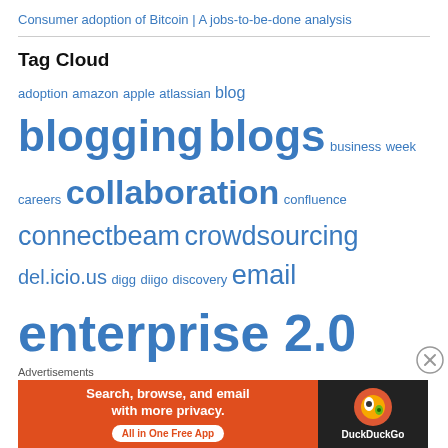Consumer adoption of Bitcoin | A jobs-to-be-done analysis
Tag Cloud
adoption amazon apple atlassian blog blogging blogs business week careers collaboration confluence connectbeam crowdsourcing del.icio.us digg diigo discovery email enterprise 2.0 facebook flickr forrester foursquare friendfeed gartner gary hamel google google reader google wave idea management ideas information filters innovation innovation management iphone jobs to
Advertisements
[Figure (other): DuckDuckGo advertisement banner: Search, browse, and email with more privacy. All in One Free App.]